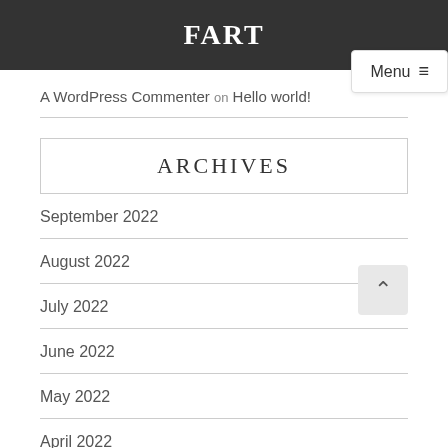FART
A WordPress Commenter on Hello world!
ARCHIVES
September 2022
August 2022
July 2022
June 2022
May 2022
April 2022